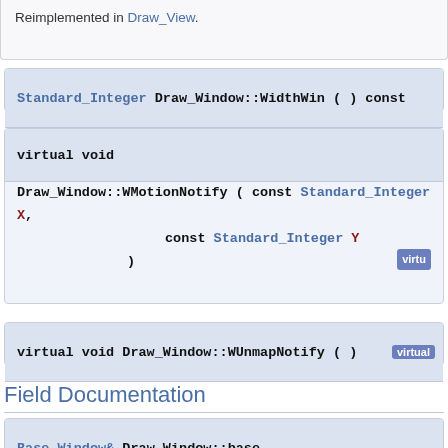Reimplemented in Draw_View.
Standard_Integer Draw_Window::WidthWin ( ) const
virtual void
Draw_Window::WMotionNotify ( const Standard_Integer X,
                            const Standard_Integer Y
                          )
virtual void Draw_Window::WUnmapNotify ( )
Field Documentation
Base_Window& Draw_Window::base